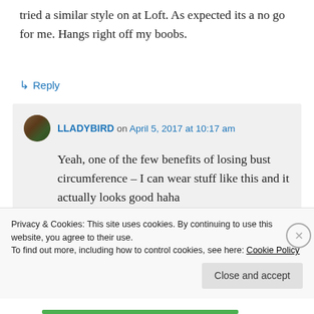tried a similar style on at Loft. As expected its a no go for me. Hangs right off my boobs.
↳ Reply
LLADYBIRD on April 5, 2017 at 10:17 am
Yeah, one of the few benefits of losing bust circumference – I can wear stuff like this and it actually looks good haha
Privacy & Cookies: This site uses cookies. By continuing to use this website, you agree to their use.
To find out more, including how to control cookies, see here: Cookie Policy